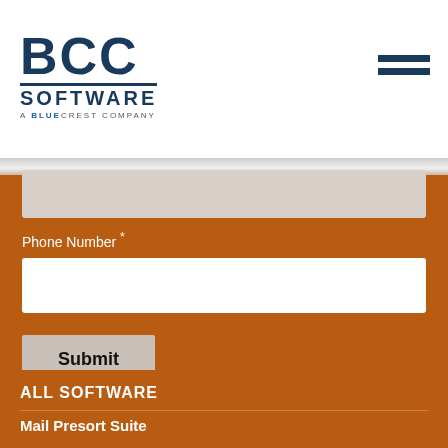[Figure (logo): BCC Software - A BlueCrest Company logo in dark navy blue]
Phone Number *
Submit
ALL SOFTWARE
Mail Presort Suite